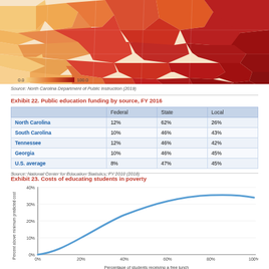[Figure (map): Choropleth map of North Carolina counties shaded from light yellow to dark red indicating values from 0.0 to 100.0]
Source: North Carolina Department of Public Instruction (2019)
Exhibit 22. Public education funding by source, FY 2016
|  | Federal | State | Local |
| --- | --- | --- | --- |
| North Carolina | 12% | 62% | 26% |
| South Carolina | 10% | 46% | 43% |
| Tennessee | 12% | 46% | 42% |
| Georgia | 10% | 46% | 45% |
| U.S. average | 8% | 47% | 45% |
Source: National Center for Education Statistics, FY 2016 (2018)
Exhibit 23. Costs of educating students in poverty
[Figure (continuous-plot): Curve chart showing percent above minimum predicted cost (y-axis, 0% to 40%) vs. Percentage of students receiving a free lunch (x-axis, 0% to 100%). The curve starts near 0% at 0% free lunch and rises in a concave-down curve to approximately 36% at 100% free lunch.]